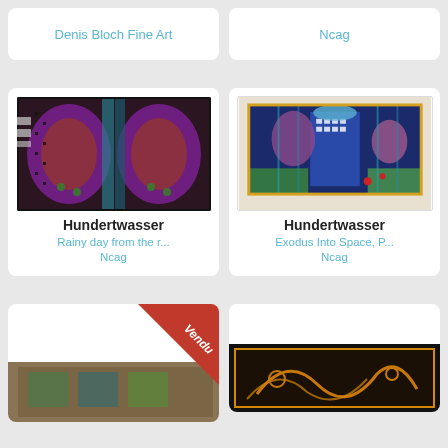Denis Bloch Fine Art
Ncag
[Figure (photo): Hundertwasser artwork - colorful abstract painting with purple, brown and blue tones]
Hundertwasser
Rainy day from the r...
Ncag
[Figure (photo): Hundertwasser artwork - Exodus Into Space, colorful painting with blue, green tones]
Hundertwasser
Exodus Into Space, P...
Ncag
[Figure (photo): Artwork with Vendu ribbon - brown/copper toned artwork partially visible]
Vendu
[Figure (photo): Dark artwork with golden/orange tones partially visible at bottom]